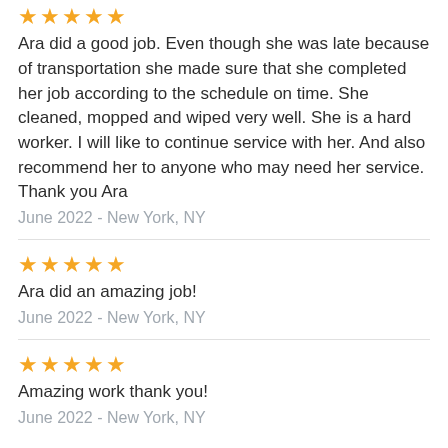[Figure (other): 5 gold stars rating (partial view, top cut off)]
Ara did a good job. Even though she was late because of transportation she made sure that she completed her job according to the schedule on time. She cleaned, mopped and wiped very well. She is a hard worker. I will like to continue service with her. And also recommend her to anyone who may need her service. Thank you Ara
June 2022 - New York, NY
[Figure (other): 5 gold stars rating]
Ara did an amazing job!
June 2022 - New York, NY
[Figure (other): 5 gold stars rating]
Amazing work thank you!
June 2022 - New York, NY